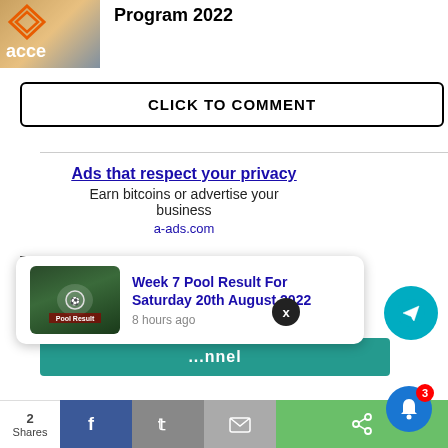[Figure (logo): Access Bank logo with orange diamond icon and 'acce' text visible]
Program 2022
CLICK TO COMMENT
[Figure (infographic): Advertisement: Ads that respect your privacy - Earn bitcoins or advertise your business - a-ads.com]
[Figure (infographic): Advertisement: Your ad here - Anonymous Ads - a-ads.com]
[Figure (screenshot): Notification popup: Week 7 Pool Result For Saturday 20th August 2022 - 8 hours ago, with football image thumbnail]
2 Shares